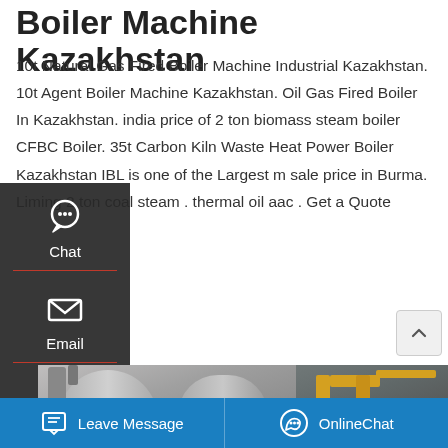Boiler Machine Kazakhstan
10t Natural Gas Fired Boiler Machine Industrial Kazakhstan. 10t Agent Boiler Machine Kazakhstan. Oil Gas Fired Boiler In Kazakhstan. india price of 2 ton biomass steam boiler CFBC Boiler. 35t Carbon Kiln Waste Heat Power Boiler Kazakhstan IBL is one of the Largest m sale price in Burma. Liming 2 ton coal steam . thermal oil aac . Get a Quote
[Figure (screenshot): Get a Quote button (amber/gold rounded rectangle)]
[Figure (screenshot): Left sidebar with Chat, Email, Contact icons on dark background]
[Figure (photo): Industrial boiler equipment photo showing cylindrical boilers and yellow piping]
[Figure (screenshot): Save Stickers on WhatsApp overlay with phone and emoji icons]
[Figure (screenshot): Bottom navigation bar with Leave Message and OnlineChat buttons in blue]